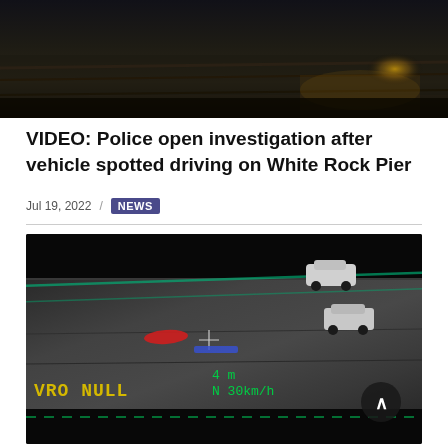[Figure (photo): Nighttime photo of a wet road surface with reflections of orange light, dark background]
VIDEO: Police open investigation after vehicle spotted driving on White Rock Pier
Jul 19, 2022 / NEWS
[Figure (screenshot): Aerial surveillance/dashcam footage showing vehicles on White Rock Pier at night. Overlay text shows 'VRO NULL', '4 m', 'N 30km/h'. Red and blue indicator marks visible. A scroll-to-top button is visible in the bottom right corner.]